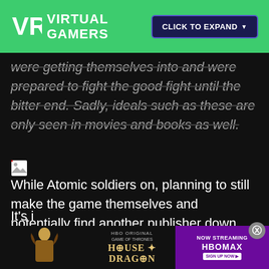VR VIRTUAL GAMERS | CLICK TO EXPAND
were getting themselves into and were prepared to fight the good fight until the bitter end. Sadly, ideals such as these are only seen in movies and books as well.
[Figure (other): Broken image placeholder icon]
While Atomic soldiers on, planning to still make the game themselves and potentially find another publisher down the line, the game and its promise has been largely forgotten. Still I can't help but wonder as the game slowly makes it's way toward completion, are gamers really ready for this?
It's i
[Figure (other): House of the Dragon HBO Max advertisement banner at the bottom of the screen with a close button]